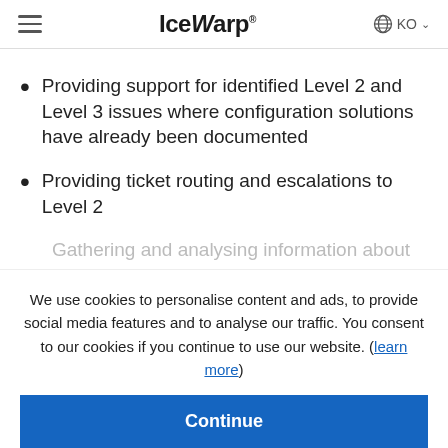IceWarp | KO
Providing support for identified Level 2 and Level 3 issues where configuration solutions have already been documented
Providing ticket routing and escalations to Level 2
Gathering and analysing information about
We use cookies to personalise content and ads, to provide social media features and to analyse our traffic. You consent to our cookies if you continue to use our website. (learn more)
Continue